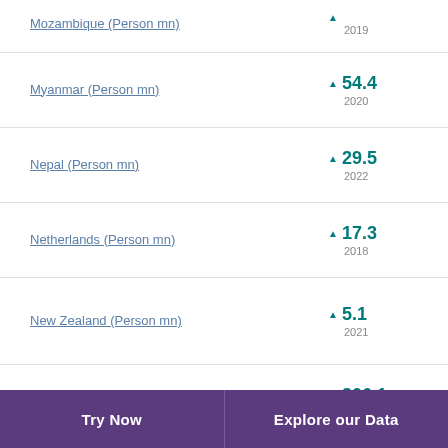Mozambique (Person mn) ▲ 29.0 2019
Myanmar (Person mn) ▲ 54.4 2020
Nepal (Person mn) ▲ 29.5 2022
Netherlands (Person mn) ▲ 17.3 2018
New Zealand (Person mn) ▲ 5.1 2021
Nigeria (Person mn) ▲ 206.1 2020
Try Now    Explore our Data